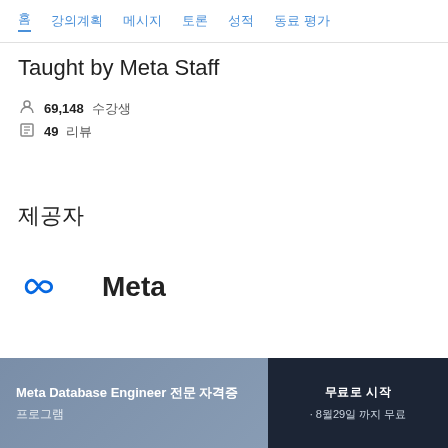홈  강의계획  메시지  토론  성적  동료 평가
Taught by Meta Staff
69,148 수강생
49 리뷰
제공자
[Figure (logo): Meta infinity logo with Meta wordmark]
Meta Database Engineer 전문 자격증 프로그램
무료로 시작 · 8월29일 까지 무료